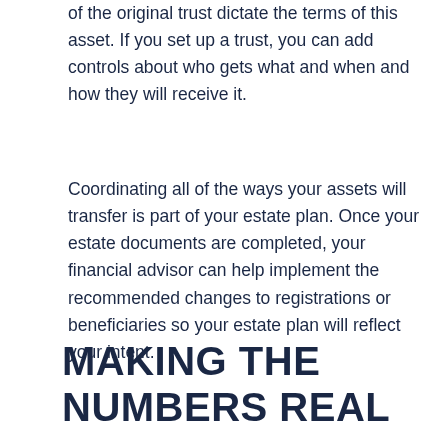of the original trust dictate the terms of this asset. If you set up a trust, you can add controls about who gets what and when and how they will receive it.
Coordinating all of the ways your assets will transfer is part of your estate plan. Once your estate documents are completed, your financial advisor can help implement the recommended changes to registrations or beneficiaries so your estate plan will reflect your intent.
MAKING THE NUMBERS REAL